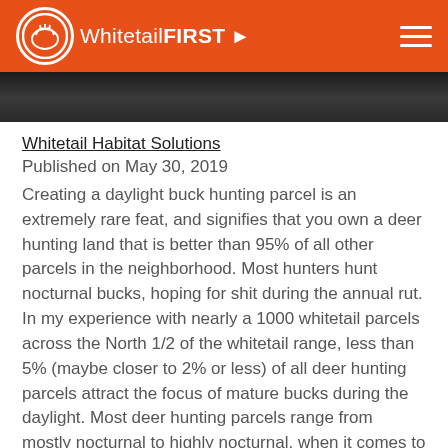Whitetail FIRST
[Figure (photo): Dark outdoor/nature photo, partially visible at top of content area]
Whitetail Habitat Solutions
Published on May 30, 2019
Creating a daylight buck hunting parcel is an extremely rare feat, and signifies that you own a deer hunting land that is better than 95% of all other parcels in the neighborhood. Most hunters hunt nocturnal bucks, hoping for shit during the annual rut. In my experience with nearly a 1000 whitetail parcels across the North 1/2 of the whitetail range, less than 5% (maybe closer to 2% or less) of all deer hunting parcels attract the focus of mature bucks during the daylight. Most deer hunting parcels range from mostly nocturnal to highly nocturnal, when it comes to comparing daylight buck